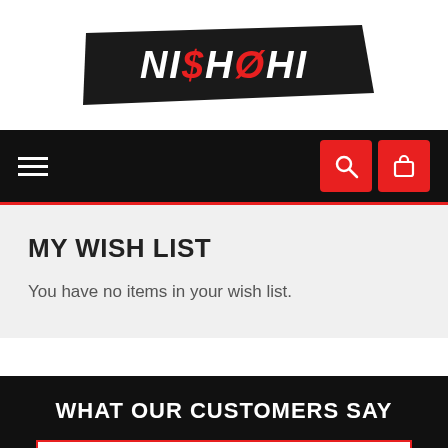[Figure (logo): NISHOHI brand logo with brush stroke background, the '$' in 'NI$HOHI' and the 'O' with a slash are in red]
[Figure (screenshot): Black navigation bar with hamburger menu on left and two red icon buttons (search and bag) on right]
MY WISH LIST
You have no items in your wish list.
WHAT OUR CUSTOMERS SAY
We're offline
Leave a message
4.98 average